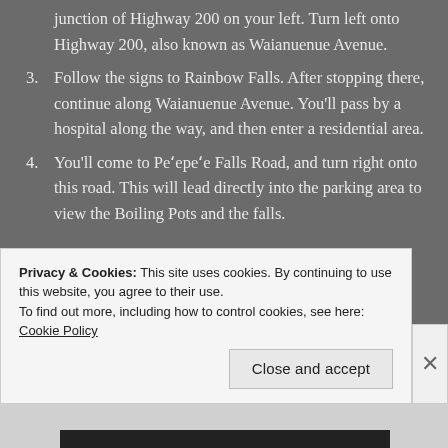junction of Highway 200 on your left.  Turn left onto Highway 200, also known as Waianuenue Avenue.
3. Follow the signs to Rainbow Falls.  After stopping there, continue along Waianuenue Avenue. You'll pass by a hospital along the way, and then enter a residential area.
4. You'll come to Pe'epe'e Falls Road, and turn right onto this road. This will lead directly into the parking area to view the Boiling Pots and the falls.
Privacy & Cookies: This site uses cookies. By continuing to use this website, you agree to their use.
To find out more, including how to control cookies, see here: Cookie Policy